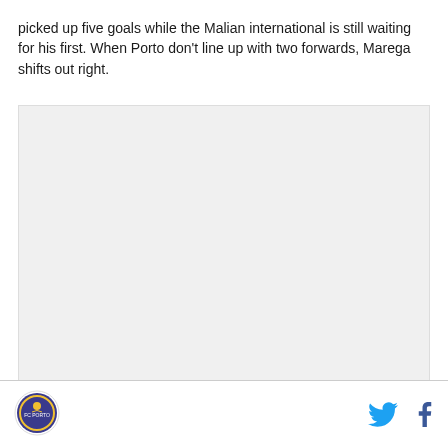picked up five goals while the Malian international is still waiting for his first. When Porto don't line up with two forwards, Marega shifts out right.
[Figure (photo): Large image placeholder area (light grey rectangle)]
Logo icon and social share buttons (Twitter, Facebook)